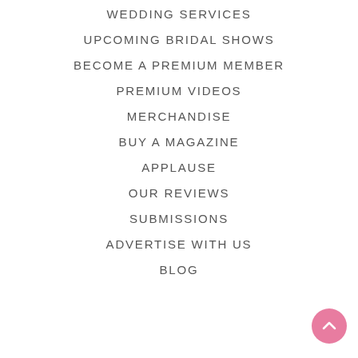WEDDING SERVICES
UPCOMING BRIDAL SHOWS
BECOME A PREMIUM MEMBER
PREMIUM VIDEOS
MERCHANDISE
BUY A MAGAZINE
APPLAUSE
OUR REVIEWS
SUBMISSIONS
ADVERTISE WITH US
BLOG
[Figure (illustration): Pink circular scroll-to-top button with an upward-pointing chevron arrow, positioned in bottom-right corner]